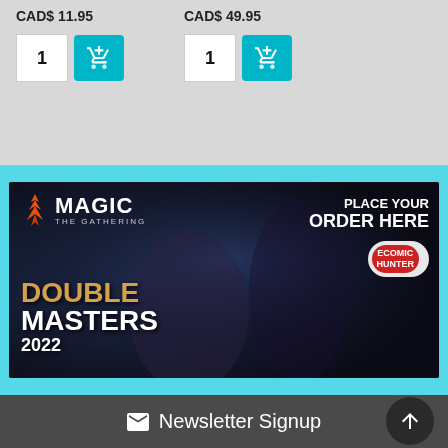CAD$ 11.95
CAD$ 49.95
1
1
[Figure (illustration): Magic: The Gathering Double Masters 2022 banner advertisement featuring fantasy characters and the Comic Hunter branding with 'Place Your Order Here' text]
Newsletter Signup